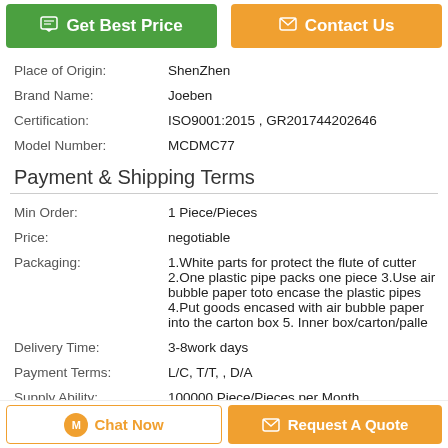[Figure (other): Two action buttons: green 'Get Best Price' button on the left and orange 'Contact Us' button on the right]
| Place of Origin: | ShenZhen |
| Brand Name: | Joeben |
| Certification: | ISO9001:2015 , GR201744202646 |
| Model Number: | MCDMC77 |
Payment & Shipping Terms
| Min Order: | 1 Piece/Pieces |
| Price: | negotiable |
| Packaging: | 1.White parts for protect the flute of cutter 2.One plastic pipe packs one piece 3.Use air bubble paper toto encase the plastic pipes 4.Put goods encased with air bubble paper into the carton box 5. Inner box/carton/palle |
| Delivery Time: | 3-8work days |
| Payment Terms: | L/C, T/T, , D/A |
| Supply Ability: | 100000 Piece/Pieces per Month |
[Figure (other): Two bottom action buttons: white outlined 'Chat Now' button on the left and orange 'Request A Quote' button on the right]